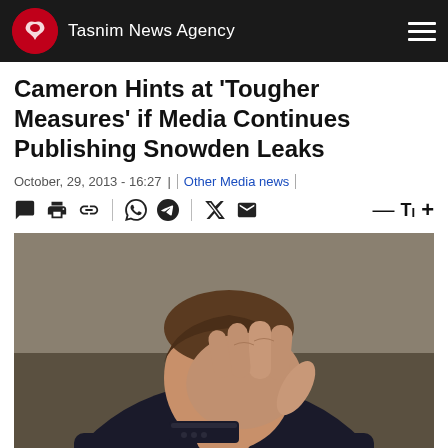Tasnim News Agency
Cameron Hints at 'Tougher Measures' if Media Continues Publishing Snowden Leaks
October, 29, 2013 - 16:27 | Other Media news
[Figure (photo): A man in a dark suit with a purple tie and red flower lapel pin holds his hand over his face, eyes closed, in what appears to be a facepalm gesture.]